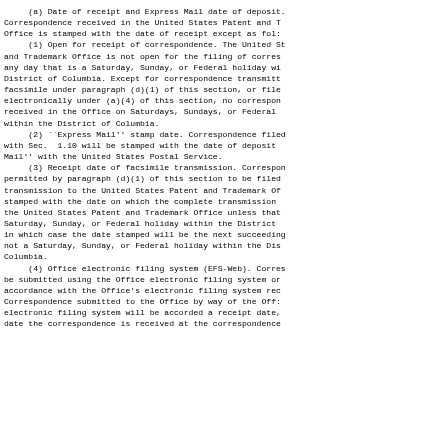(a) Date of receipt and Express Mail date of deposit. Correspondence received in the United States Patent and Trademark Office is stamped with the date of receipt except as follows:
     (1) Open for receipt of correspondence. The United States Patent and Trademark Office is not open for the filing of correspondence any day that is a Saturday, Sunday, or Federal holiday within the District of Columbia. Except for correspondence transmitted by facsimile under paragraph (d)(1) of this section, or filed electronically under (a)(4) of this section, no correspondence received in the Office on Saturdays, Sundays, or Federal holidays within the District of Columbia.
     (2) ``Express Mail'' stamp date. Correspondence filed in compliance with Sec.  1.10 will be stamped with the date of deposit as ``Express Mail'' with the United States Postal Service.
     (3) Receipt date of facsimile transmission. Correspondence permitted by paragraph (d)(1) of this section to be filed by facsimile transmission to the United States Patent and Trademark Office will be stamped with the date on which the complete transmission is received in the United States Patent and Trademark Office unless that date is a Saturday, Sunday, or Federal holiday within the District of Columbia, in which case the date stamped will be the next succeeding day that is not a Saturday, Sunday, or Federal holiday within the District of Columbia.
     (4) Office electronic filing system (EFS-Web). Correspondence to be submitted using the Office electronic filing system only in accordance with the Office's electronic filing system requirements. Correspondence submitted to the Office by way of the Office's electronic filing system will be accorded a receipt date, which is the date the correspondence is received at the correspondence address